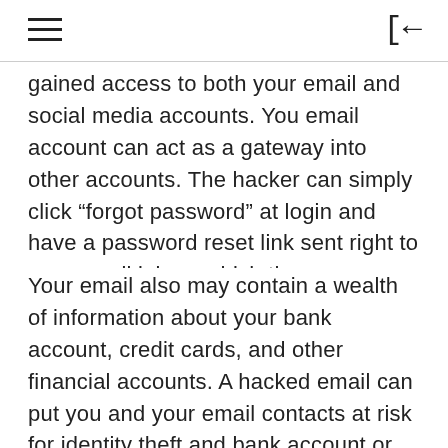gained access to both your email and social media accounts. You email account can act as a gateway into other accounts. The hacker can simply click “forgot password” at login and have a password reset link sent right to your email inbox, which they now control.
Your email also may contain a wealth of information about your bank account, credit cards, and other financial accounts. A hacked email can put you and your email contacts at risk for identity theft and bank account or credit card fraud. If you think